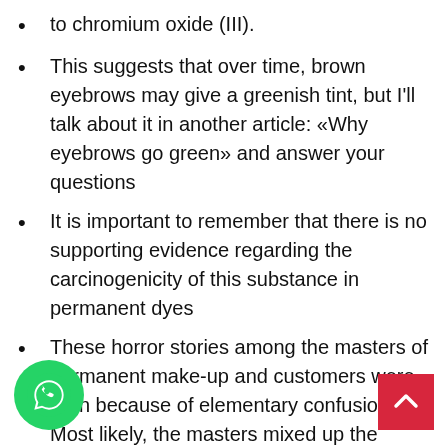to chromium oxide (III).
This suggests that over time, brown eyebrows may give a greenish tint, but I'll talk about it in another article: «Why eyebrows go green» and answer your questions
It is important to remember that there is no supporting evidence regarding the carcinogenicity of this substance in permanent dyes
These horror stories among the masters of permanent make-up and customers were born because of elementary confusion. Most likely, the masters mixed up the trivalent chromium oxide Cr2O3 and the hexavalent chromium oxide O3. Like other hexavalent chromium compounds, CrO3 is very poisonous.